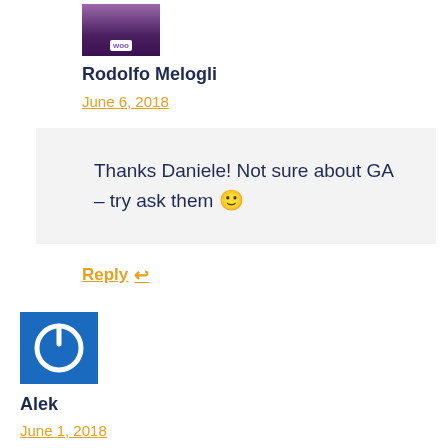[Figure (photo): Avatar photo of Rodolfo Melogli with WooCommerce logo label]
Rodolfo Melogli
June 6, 2018
Thanks Daniele! Not sure about GA – try ask them 🙂
Reply ↩
[Figure (logo): Blue square icon with white power button symbol]
Alek
June 1, 2018